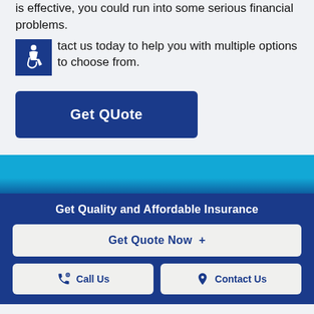is effective, you could run into some serious financial problems.
Contact us today to help you with multiple options to choose from.
[Figure (other): Accessibility wheelchair icon in dark blue square]
[Figure (other): Get Quote button - dark blue rounded rectangle with white bold text]
Get Quality and Affordable Insurance
Get Quote Now  +
Call Us
Contact Us